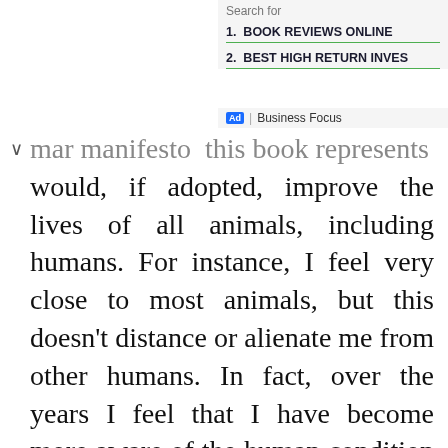Search for
1.  BOOK REVIEWS ONLINE
2.  BEST HIGH RETURN INVES
Ad | Business Focus
mar manifesto this book represents would, if adopted, improve the lives of all animals, including humans. For instance, I feel very close to most animals, but this doesn't distance or alienate me from other humans. In fact, over the years I feel that I have become more aware of the human condition as a result of my devotion to the plight of animals. Compassion begets compassion. As we develop compassion, we expand our moral circle to include all animals and people; this is the ultimate goal of expanding our compassion footprint.